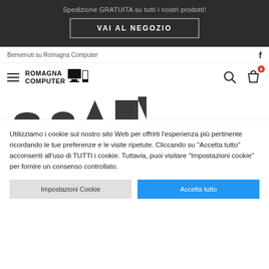Spedizione GRATUITA su tutti i nostri prodotti!
VAI AL NEGOZIO
Benvenuti su Romagna Computer
[Figure (logo): Romagna Computer logo with hamburger menu, search icon, and shopping bag icon with red notification badge]
[Figure (illustration): Partial hero banner showing dark silhouette shapes of computer-related icons]
Utilizziamo i cookie sul nostro sito Web per offrirti l’esperienza più pertinente ricordando le tue preferenze e le visite ripetute. Cliccando su “Accetta tutto” acconsenti all’uso di TUTTI i cookie. Tuttavia, puoi visitare “Impostazioni cookie” per fornire un consenso controllato.
Impostazioni Cookie
Accetta tutto